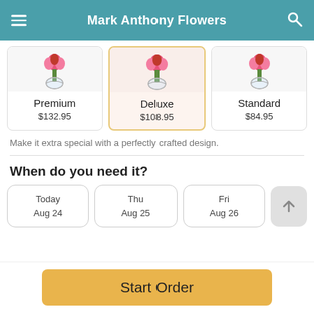Mark Anthony Flowers
[Figure (screenshot): Three flower product cards: Premium $132.95, Deluxe $108.95 (selected), Standard $84.95, each showing a flower vase image]
Make it extra special with a perfectly crafted design.
When do you need it?
[Figure (screenshot): Date picker row with three date options: Today Aug 24, Thu Aug 25, Fri Aug 26, and an arrow button]
Start Order